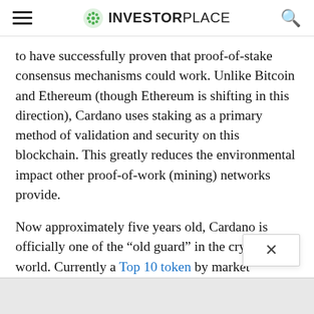INVESTORPLACE
to have successfully proven that proof-of-stake consensus mechanisms could work. Unlike Bitcoin and Ethereum (though Ethereum is shifting in this direction), Cardano uses staking as a primary method of validation and security on this blockchain. This greatly reduces the environmental impact other proof-of-work (mining) networks provide.
Now approximately five years old, Cardano is officially one of the “old guard” in the crypto world. Currently a Top 10 token by market capitalization, Cardano focus on providing a strong and stable platform for smart